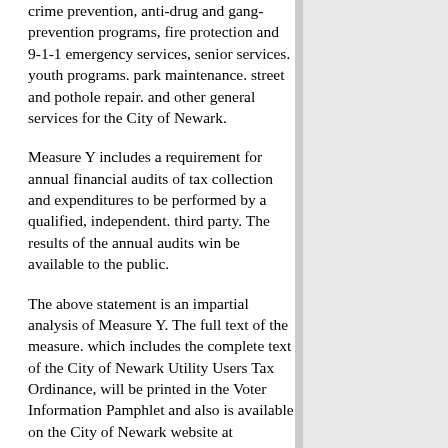crime prevention, anti-drug and gang-prevention programs, fire protection and 9-1-1 emergency services, senior services. youth programs. park maintenance. street and pothole repair. and other general services for the City of Newark.
Measure Y includes a requirement for annual financial audits of tax collection and expenditures to be performed by a qualified, independent. third party. The results of the annual audits win be available to the public.
The above statement is an impartial analysis of Measure Y. The full text of the measure. which includes the complete text of the City of Newark Utility Users Tax Ordinance, will be printed in the Voter Information Pamphlet and also is available on the City of Newark website at http://www.newark.org.
DAVID I. BENOUN City Attorney